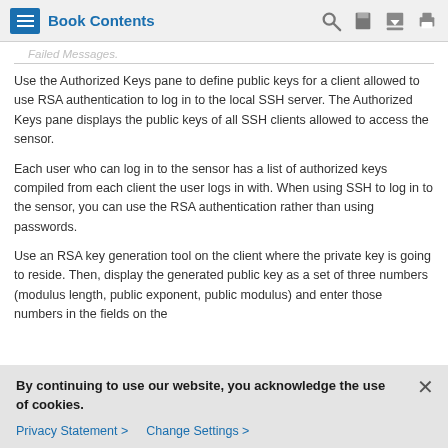Book Contents
Failed Messages.
Use the Authorized Keys pane to define public keys for a client allowed to use RSA authentication to log in to the local SSH server. The Authorized Keys pane displays the public keys of all SSH clients allowed to access the sensor.
Each user who can log in to the sensor has a list of authorized keys compiled from each client the user logs in with. When using SSH to log in to the sensor, you can use the RSA authentication rather than using passwords.
Use an RSA key generation tool on the client where the private key is going to reside. Then, display the generated public key as a set of three numbers (modulus length, public exponent, public modulus) and enter those numbers in the fields on the
By continuing to use our website, you acknowledge the use of cookies.
Privacy Statement > Change Settings >